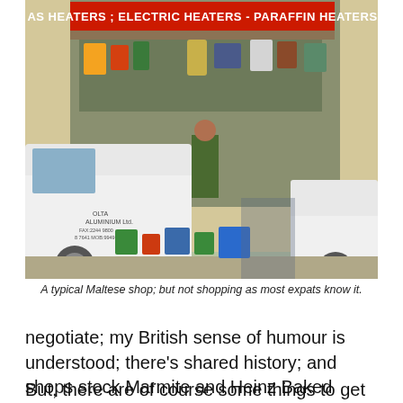[Figure (photo): A busy Maltese outdoor shop with a white van labelled 'OLTA ALUMINIUM Ltd.' parked in front. The shop displays numerous goods including clothing, baskets, and various household items. A banner reads 'AS HEATERS; ELECTRIC HEATERS - PARAFFIN HEATERS'. A person stands in front of the shop.]
A typical Maltese shop; but not shopping as most expats know it.
negotiate; my British sense of humour is understood; there's shared history; and shops stock Marmite and Heinz Baked Beans.
But, there are of course some things to get used to in order to settle in to a new pattern of life. Most of